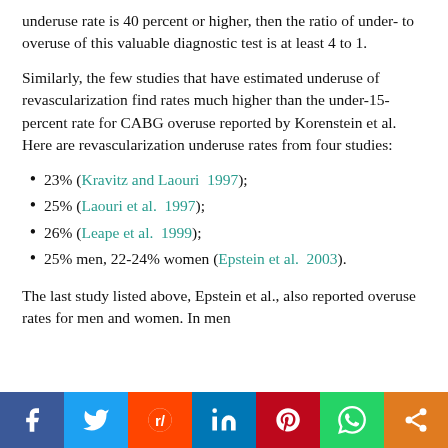underuse rate is 40 percent or higher, then the ratio of under- to overuse of this valuable diagnostic test is at least 4 to 1.
Similarly, the few studies that have estimated underuse of revascularization find rates much higher than the under-15-percent rate for CABG overuse reported by Korenstein et al. Here are revascularization underuse rates from four studies:
23% (Kravitz and Laouri 1997);
25% (Laouri et al. 1997);
26% (Leape et al. 1999);
25% men, 22-24% women (Epstein et al. 2003).
The last study listed above, Epstein et al., also reported overuse rates for men and women. In men